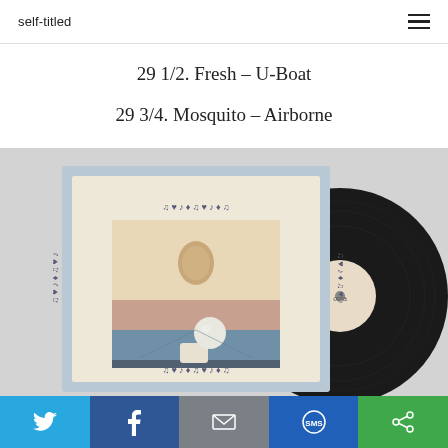self-titled
29 1/2. Fresh – U-Boat
29 3/4. Mosquito – Airborne
[Figure (photo): Album cover art with decorative border featuring an egg-like figure, alongside a black vinyl record partially visible on the right]
Social share bar: Twitter, Facebook, Email, SMS, Share